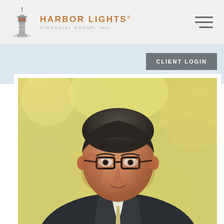[Figure (logo): Harbor Lights Financial Group, Inc. logo with lighthouse icon and orange text]
CLIENT LOGIN
[Figure (photo): Professional headshot of a middle-aged man wearing glasses and a dark suit with a light tie, photographed outdoors with a soft bokeh background of yellow-green foliage]